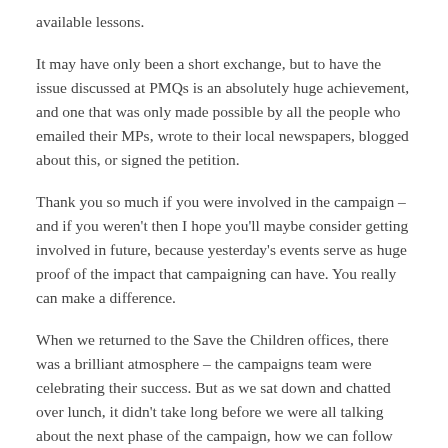available lessons.
It may have only been a short exchange, but to have the issue discussed at PMQs is an absolutely huge achievement, and one that was only made possible by all the people who emailed their MPs, wrote to their local newspapers, blogged about this, or signed the petition.
Thank you so much if you were involved in the campaign – and if you weren't then I hope you'll maybe consider getting involved in future, because yesterday's events serve as huge proof of the impact that campaigning can have. You really can make a difference.
When we returned to the Save the Children offices, there was a brilliant atmosphere – the campaigns team were celebrating their success. But as we sat down and chatted over lunch, it didn't take long before we were all talking about the next phase of the campaign, how we can follow up, and keep putting pressure on to make sure that the Government really does take action to back up its words.
There is a lot more work to do – and campaign work isn't always as rewarding as it was for us yesterday – but it was brilliant to see the impact that you can have just by taking a few minutes out of your day to